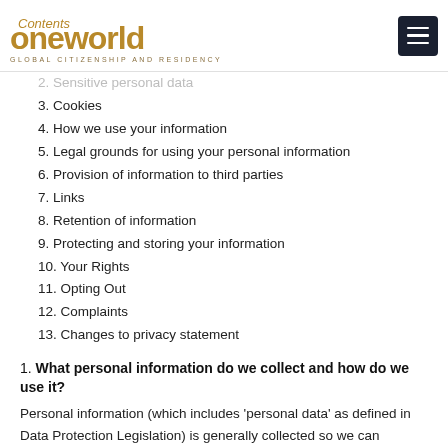oneworld GLOBAL CITIZENSHIP AND RESIDENCY
2. Sensitive personal data
3. Cookies
4. How we use your information
5. Legal grounds for using your personal information
6. Provision of information to third parties
7. Links
8. Retention of information
9. Protecting and storing your information
10. Your Rights
11. Opting Out
12. Complaints
13. Changes to privacy statement
1. What personal information do we collect and how do we use it?
Personal information (which includes 'personal data' as defined in Data Protection Legislation) is generally collected so we can